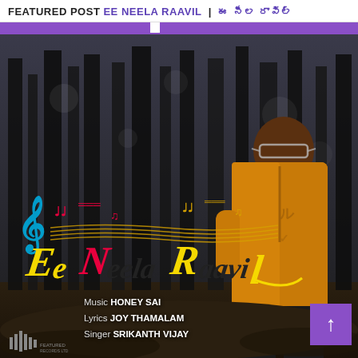FEATURED POST EE NEELA RAAVIL | ఈ నీల రావిల్
[Figure (photo): Music album/single promotional image for 'Ee Neela Raavil' featuring a man in an orange/yellow jacket standing in a dark forest. The image includes the colorful stylized song title logo with musical notes, and credits: Music HONEY SAI, Lyrics JOY THAMALAM, Singer SRIKANTH VIJAY. A purple scroll-up button is in the bottom-right corner.]
Music HONEY SAI
Lyrics JOY THAMALAM
Singer SRIKANTH VIJAY